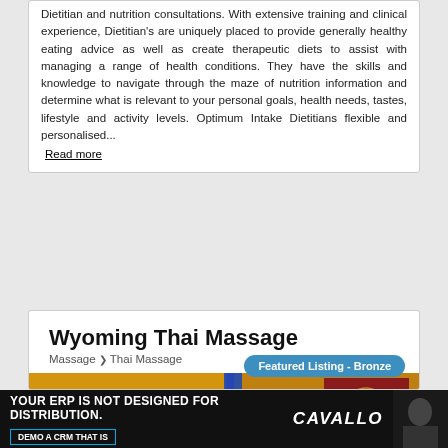Dietitian and nutrition consultations. With extensive training and clinical experience, Dietitian's are uniquely placed to provide generally healthy eating advice as well as create therapeutic diets to assist with managing a range of health conditions. They have the skills and knowledge to navigate through the maze of nutrition information and determine what is relevant to your personal goals, health needs, tastes, lifestyle and activity levels. Optimum Intake Dietitians flexible and personalised... Read more
Wyoming Thai Massage
Massage > Thai Massage
Featured Listing - Bronze
[Figure (photo): Interior of a Thai massage room with yellow walls, massage beds with blue covers, wicker baskets, decorative lamps, and a red wall panel with a tree design.]
YOUR ERP IS NOT DESIGNED FOR DISTRIBUTION. DEMO A CRM THAT IS CAVALLO